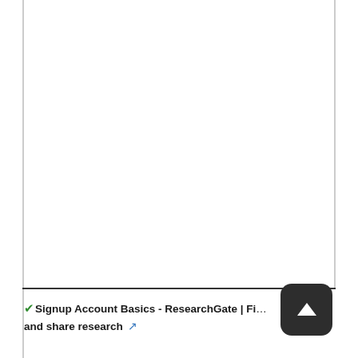✓Signup Account Basics - ResearchGate | Fi… and share research 🔗